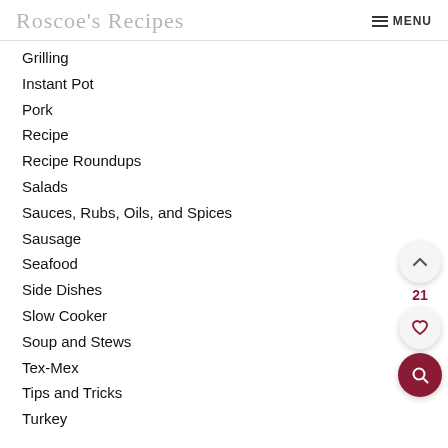Roscoe's Recipes | MENU
Grilling
Instant Pot
Pork
Recipe
Recipe Roundups
Salads
Sauces, Rubs, Oils, and Spices
Sausage
Seafood
Side Dishes
Slow Cooker
Soup and Stews
Tex-Mex
Tips and Tricks
Turkey